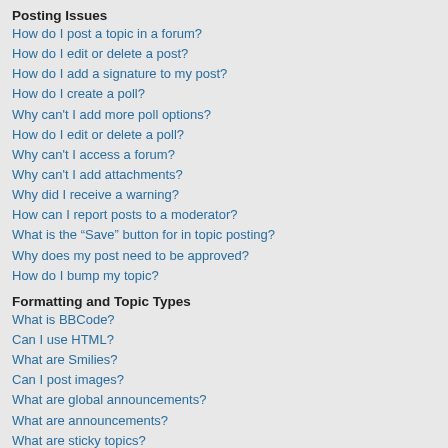Posting Issues
How do I post a topic in a forum?
How do I edit or delete a post?
How do I add a signature to my post?
How do I create a poll?
Why can't I add more poll options?
How do I edit or delete a poll?
Why can't I access a forum?
Why can't I add attachments?
Why did I receive a warning?
How can I report posts to a moderator?
What is the “Save” button for in topic posting?
Why does my post need to be approved?
How do I bump my topic?
Formatting and Topic Types
What is BBCode?
Can I use HTML?
What are Smilies?
Can I post images?
What are global announcements?
What are announcements?
What are sticky topics?
What are locked topics?
What are topic icons?
User Levels and Groups
What are Administrators?
What are Moderators?
What are usergroups?
Where are the usergroups and how do I join one?
How do I become a usergroup leader?